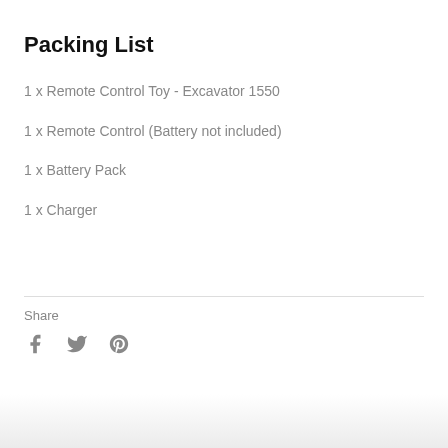Packing List
1 x Remote Control Toy - Excavator 1550
1 x Remote Control (Battery not included)
1 x Battery Pack
1 x Charger
Share